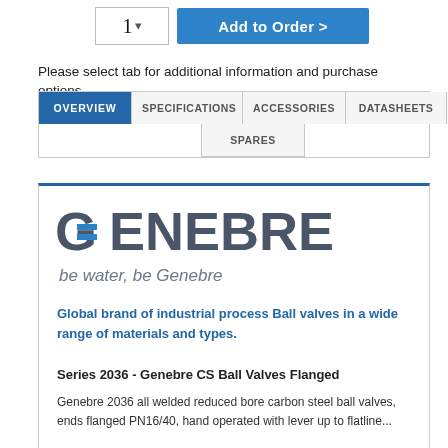[Figure (screenshot): Quantity selector input box showing '1' and a blue 'Add to Order >' button]
Please select tab for additional information and purchase options.
[Figure (screenshot): Navigation tab bar with tabs: OVERVIEW (active/blue), SPECIFICATIONS, ACCESSORIES, DATASHEETS, VIDEOS in row 1; SPARES in row 2]
[Figure (logo): Genebre logo with tagline 'be water, be Genebre']
Global brand of industrial process Ball valves in a wide range of materials and types.
Series 2036 - Genebre CS Ball Valves Flanged
Genebre 2036 all welded reduced bore carbon steel ball valves, ends flanged PN16/40, hand operated with lever up to flatline...